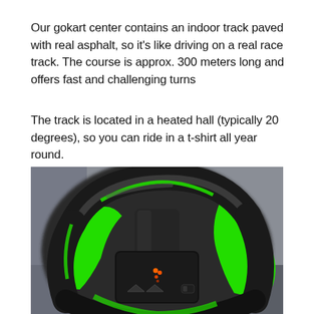Our gokart center contains an indoor track paved with real asphalt, so it's like driving on a real race track. The course is approx. 300 meters long and offers fast and challenging turns
The track is located in a heated hall (typically 20 degrees), so you can ride in a t-shirt all year round.
[Figure (photo): Close-up photograph of a go-kart steering wheel with a black plastic/rubber frame and bright green accent panels. The steering wheel has a flat-bottom design with a central hub displaying small orange LED lights. The background shows a blurred indoor track environment.]